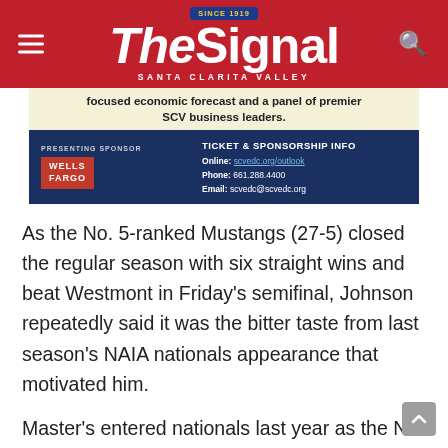The Signal — Santa Clarita Valley
[Figure (infographic): Advertisement banner for SCVEDC event. Top section (cream/beige background): 'focused economic forecast and a panel of premier SCV business leaders.' Bottom section (dark navy background): Presenting Sponsor — Wells Fargo logo. Ticket & Sponsorship Info: Online: scvedc.org/outlook, Phone: 661.288.4400, Email: scvedc@scvedc.org]
As the No. 5-ranked Mustangs (27-5) closed the regular season with six straight wins and beat Westmont in Friday's semifinal, Johnson repeatedly said it was the bitter taste from last season's NAIA nationals appearance that motivated him.
Master's entered nationals last year as the No. 1 overall seed, which made Peru State's upset victory in the first round all the more stunning.